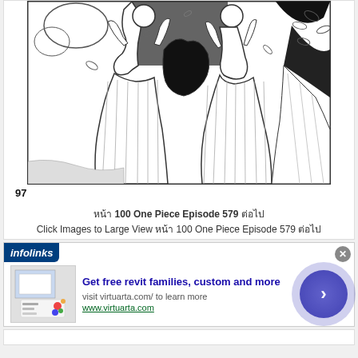[Figure (illustration): Black and white manga illustration showing two female characters in flowing dresses with their hands raised, surrounded by falling leaves and a dark figure in the background. Page 97 of One Piece Episode 579.]
97
หน้า 100 One Piece Episode 579 ต่อไป
Click Images to Large View หน้า 100 One Piece Episode 579 ต่อไป
[Figure (screenshot): Infolinks advertisement banner showing 'Get free revit families, custom and more' with text 'visit virtuarta.com/ to learn more' and 'www.virtuarta.com'. Contains a product image on the left and a blue arrow button on the right. Has a close (X) button.]